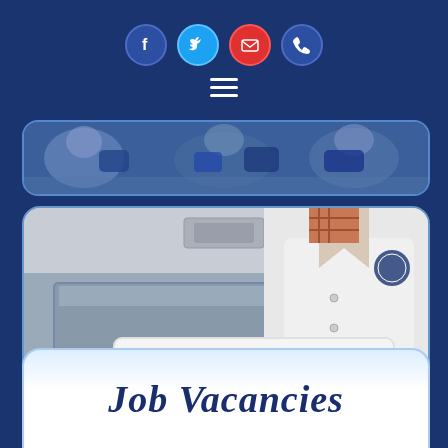[Figure (screenshot): Navigation bar with social media icons (Facebook, Twitter, Email, Phone) and hamburger menu on dark blue background]
[Figure (photo): Workers in blue uniforms working at a seafood processing facility, shown as a horizontal strip]
[Figure (photo): Person in white lab coat holding a white tray of cooked prawns/shrimp at a seafood facility]
Job Vacancies